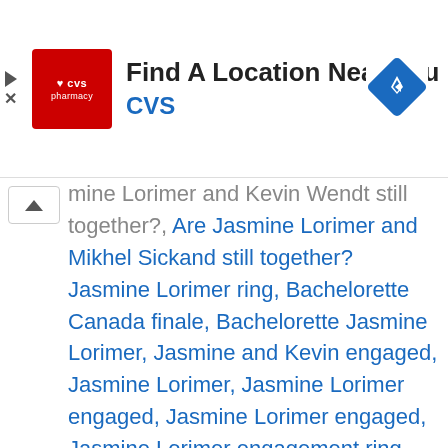[Figure (screenshot): CVS Pharmacy advertisement banner with red logo, text 'Find A Location Near You' and 'CVS', and a blue navigation diamond icon on the right. Play and X ad-control icons on the far left.]
mine Lorimer and Kevin Wendt still together?, Are Jasmine Lorimer and Mikhel Sickand still together? Jasmine Lorimer ring, Bachelorette Canada finale, Bachelorette Jasmine Lorimer, Jasmine and Kevin engaged, Jasmine Lorimer, Jasmine Lorimer engaged, Jasmine Lorimer engaged, Jasmine Lorimer engagement ring, Jasmine Lorimer father death, Jasmine Lorimer finale, Jasmine Lorimer Kevin breakup, Jasmine Lorimer Kevin engaged, Jasmine Lorimer Kevin W, Jasmine Lorimer Kevin W engaged, Jasmine Lorimer Michael